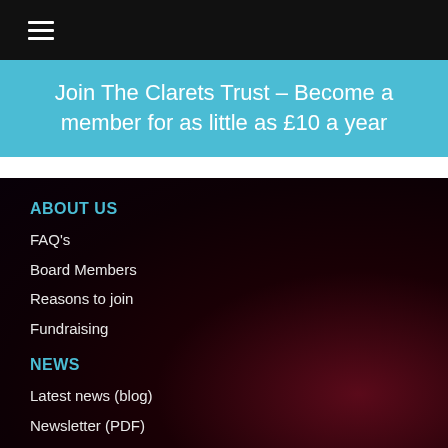≡ (hamburger menu)
Join The Clarets Trust – Become a member for as little as £10 a year
ABOUT US
FAQ's
Board Members
Reasons to join
Fundraising
NEWS
Latest news (blog)
Newsletter (PDF)
CONTACT
Clarets Trust, 30 Deerpark Road, Burnley, Lancashire, BB10 4SD.